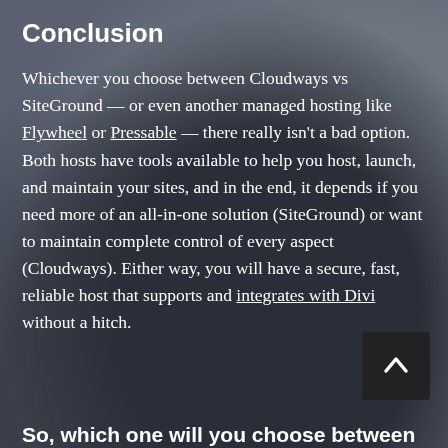Conclusion
Whichever you choose between Cloudways vs SiteGround — or even another managed hosting like Flywheel or Pressable — there really isn't a bad option. Both hosts have tools available to help you host, launch, and maintain your sites, and in the end, it depends if you need more of an all-in-one solution (SiteGround) or want to maintain complete control of every aspect (Cloudways). Either way, you will have a secure, fast, reliable host that supports and integrates with Divi without a hitch.
So, which one will you choose between